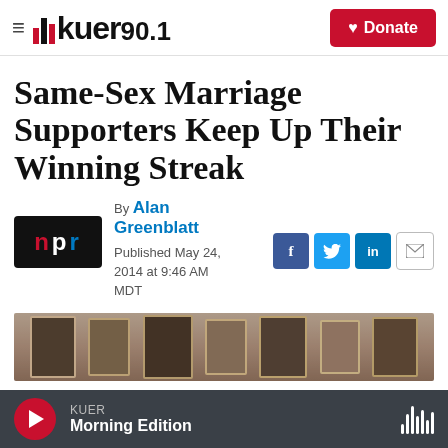KUER 90.1 — Donate
Same-Sex Marriage Supporters Keep Up Their Winning Streak
By Alan Greenblatt
Published May 24, 2014 at 9:46 AM MDT
[Figure (logo): NPR logo — red N, white P, blue R on black background]
[Figure (photo): Photograph of a hallway or corridor with framed portrait paintings hanging on the walls]
KUER Morning Edition — player bar with play button and audio waveform icon